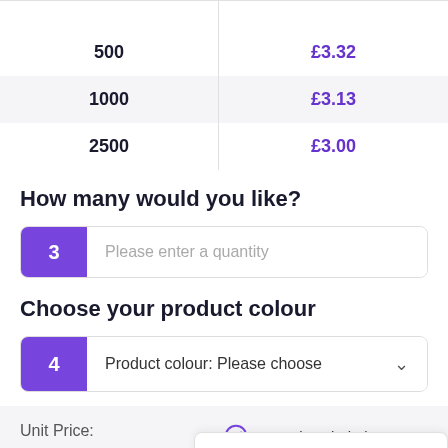| Quantity | Price |
| --- | --- |
| 500 | £3.32 |
| 1000 | £3.13 |
| 2500 | £3.00 |
How many would you like?
3  Please enter a quantity
Choose your product colour
4  Product colour: Please choose
Unit Price:
£4.48
Artwork Included
Leave a message